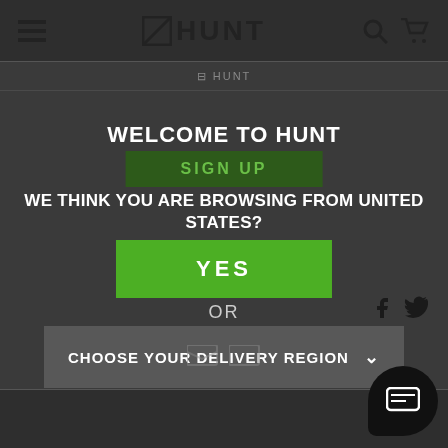[Figure (screenshot): Navigation bar with hamburger menu, HUNT logo with slash icon, search and cart icons on dark background]
WELCOME TO HUNT
SIGN UP
WE THINK YOU ARE BROWSING FROM UNITED STATES?
YES
OR
CHOOSE YOUR DELIVERY REGION ∨
[Figure (screenshot): Chat support bubble icon in bottom right corner]